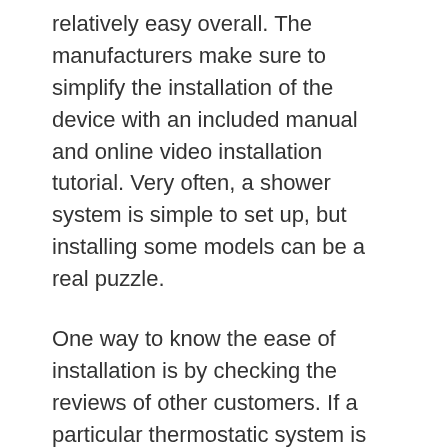relatively easy overall. The manufacturers make sure to simplify the installation of the device with an included manual and online video installation tutorial. Very often, a shower system is simple to set up, but installing some models can be a real puzzle.
One way to know the ease of installation is by checking the reviews of other customers. If a particular thermostatic system is difficult to install, consumers will let you know in a completely transparent way.
Conclusion